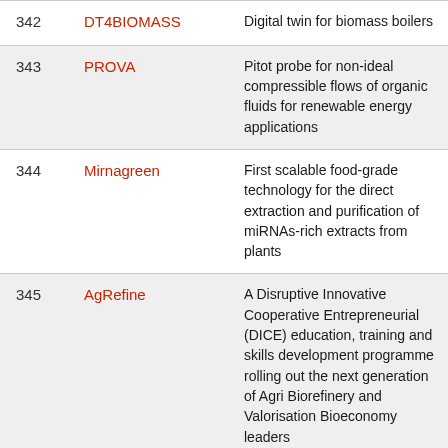| # | Project | Description |
| --- | --- | --- |
| 342 | DT4BIOMASS | Digital twin for biomass boilers |
| 343 | PROVA | Pitot probe for non-ideal compressible flows of organic fluids for renewable energy applications |
| 344 | Mirnagreen | First scalable food-grade technology for the direct extraction and purification of miRNAs-rich extracts from plants |
| 345 | AgRefine | A Disruptive Innovative Cooperative Entrepreneurial (DICE) education, training and skills development programme rolling out the next generation of Agri Biorefinery and Valorisation Bioeconomy leaders |